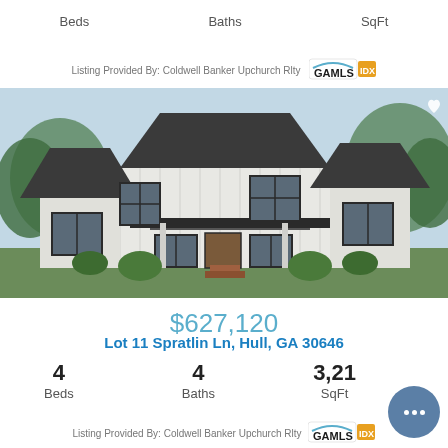Beds   Baths   SqFt
Listing Provided By: Coldwell Banker Upchurch Rlty
[Figure (photo): Exterior rendering of a modern farmhouse with white vertical siding, dark metal roof, large black-framed windows, covered front porch, and landscaping.]
$627,120
Lot 11 Spratlin Ln, Hull, GA 30646
4 Beds   4 Baths   3,21 SqFt
Listing Provided By: Coldwell Banker Upchurch Rlty